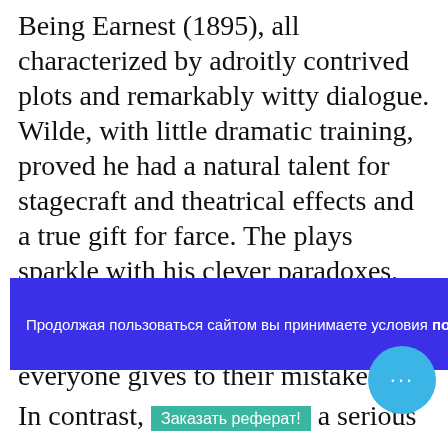Being Earnest (1895), all characterized by adroitly contrived plots and remarkably witty dialogue. Wilde, with little dramatic training, proved he had a natural talent for stagecraft and theatrical effects and a true gift for farce. The plays sparkle with his clever paradoxes, among them such famous inverted proverbs as “Experience is the name everyone gives to their mistakes”
Продолжая пользоваться сайтом вы принимаете условия политики конфиденциальности
In contrast, a serious